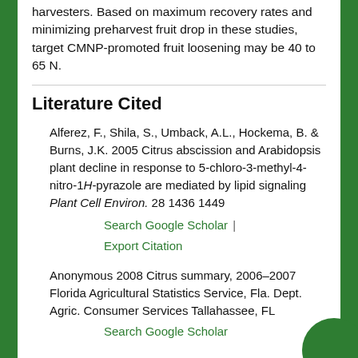harvesters. Based on maximum recovery rates and minimizing preharvest fruit drop in these studies, target CMNP-promoted fruit loosening may be 40 to 65 N.
Literature Cited
Alferez, F., Shila, S., Umback, A.L., Hockema, B. & Burns, J.K. 2005 Citrus abscission and Arabidopsis plant decline in response to 5-chloro-3-methyl-4-nitro-1H-pyrazole are mediated by lipid signaling Plant Cell Environ. 28 1436 1449
Search Google Scholar | Export Citation
Anonymous 2008 Citrus summary, 2006–2007 Florida Agricultural Statistics Service, Fla. Dept. Agric. Consumer Services Tallahassee, FL
Search Google Scholar